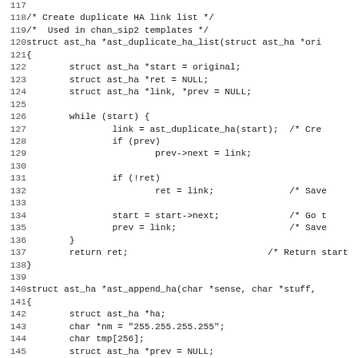C source code listing, lines 117-148, showing ast_duplicate_ha_list and ast_append_ha functions